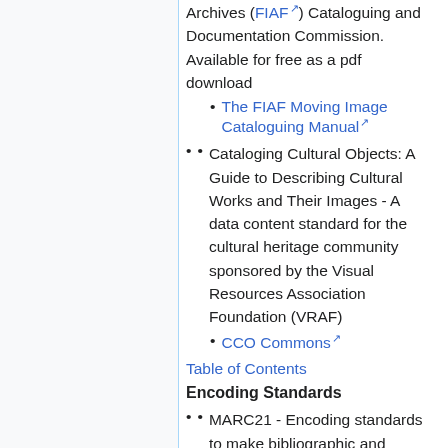Archives (FIAF) Cataloguing and Documentation Commission. Available for free as a pdf download
The FIAF Moving Image Cataloguing Manual
Cataloging Cultural Objects: A Guide to Describing Cultural Works and Their Images - A data content standard for the cultural heritage community sponsored by the Visual Resources Association Foundation (VRAF)
CCO Commons
Table of Contents
Encoding Standards
MARC21 - Encoding standards to make bibliographic and related information machine-readable
Library of Congress MARC